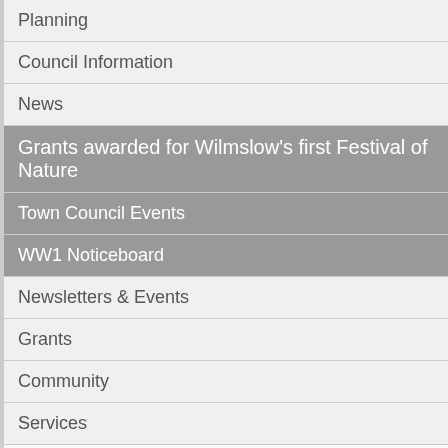Planning
Council Information
News
Grants awarded for Wilmslow's first Festival of Nature
Town Council Events
WW1 Noticeboard
Newsletters & Events
Grants
Community
Services